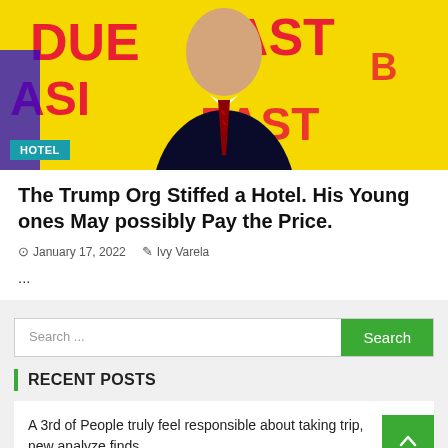[Figure (photo): Hero image of a man in a dark suit and striped tie against a yellow background with red text. A teal 'HOTEL' badge is overlaid at bottom left.]
The Trump Org Stiffed a Hotel. His Young ones May possibly Pay the Price.
January 17, 2022   Ivy Varela
...
Search ...
RECENT POSTS
A 3rd of People truly feel responsible about taking trip, new analyze finds